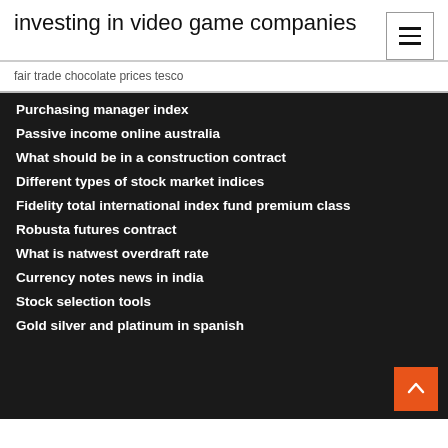investing in video game companies
fair trade chocolate prices tesco
Purchasing manager index
Passive income online australia
What should be in a construction contract
Different types of stock market indices
Fidelity total international index fund premium class
Robusta futures contract
What is natwest overdraft rate
Currency notes news in india
Stock selection tools
Gold silver and platinum in spanish